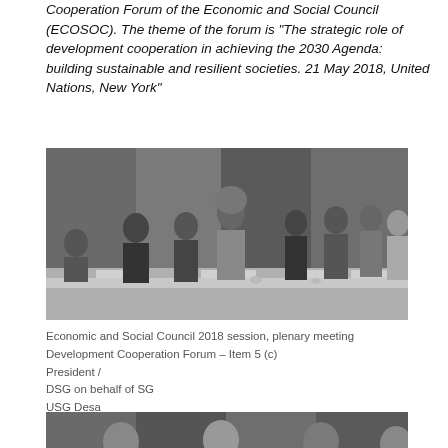Cooperation Forum of the Economic and Social Council (ECOSOC). The theme of the forum is "The strategic role of development cooperation in achieving the 2030 Agenda: building sustainable and resilient societies. 21 May 2018, United Nations, New York"
[Figure (photo): Black and white photo of officials at a plenary meeting table, with name placards visible, at the United Nations. Several people are standing and conversing behind a panel table.]
Economic and Social Council 2018 session, plenary meeting
Development Cooperation Forum – Item 5 (c)
President /
DSG on behalf of SG
USG Desa
Keynote speakers
[Figure (photo): Black and white photo showing people seated at a table, partially visible at the bottom of the page.]